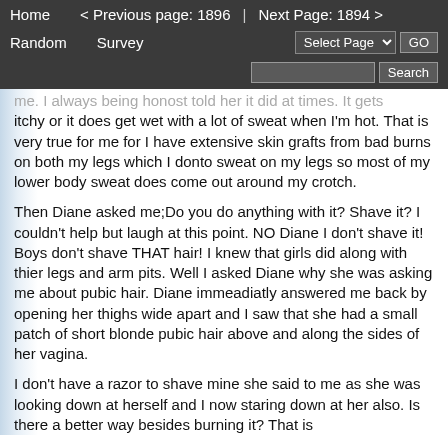Home   < Previous page: 1896   |   Next Page: 1894 >
Random   Survey   Select Page  GO   Search
me. I always being honost told her it did at times. It gets itchy or it does get wet with a lot of sweat when I'm hot. That is very true for me for I have extensive skin grafts from bad burns on both my legs which I donto sweat on my legs so most of my lower body sweat does come out around my crotch.
Then Diane asked me;Do you do anything with it? Shave it? I couldn't help but laugh at this point. NO Diane I don't shave it! Boys don't shave THAT hair! I knew that girls did along with thier legs and arm pits. Well I asked Diane why she was asking me about pubic hair. Diane immeadiatly answered me back by opening her thighs wide apart and I saw that she had a small patch of short blonde pubic hair above and along the sides of her vagina.
I don't have a razor to shave mine she said to me as she was looking down at herself and I now staring down at her also. Is there a better way besides burning it? That is what I heard about it. Poor Diane said to me. I didn't